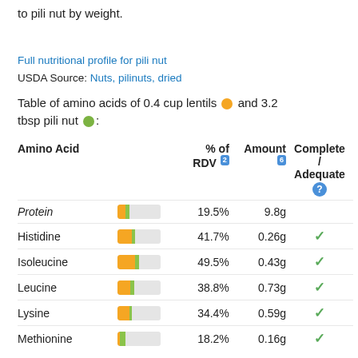to pili nut by weight.
Full nutritional profile for pili nut
USDA Source: Nuts, pilinuts, dried
Table of amino acids of 0.4 cup lentils and 3.2 tbsp pili nut:
| Amino Acid | % of RDV [2] | Amount [6] | Complete / Adequate |
| --- | --- | --- | --- |
| Protein |  | 19.5% | 9.8g |  |
| Histidine |  | 41.7% | 0.26g | ✓ |
| Isoleucine |  | 49.5% | 0.43g | ✓ |
| Leucine |  | 38.8% | 0.73g | ✓ |
| Lysine |  | 34.4% | 0.59g | ✓ |
| Methionine |  | 18.2% | 0.16g | ✓ |